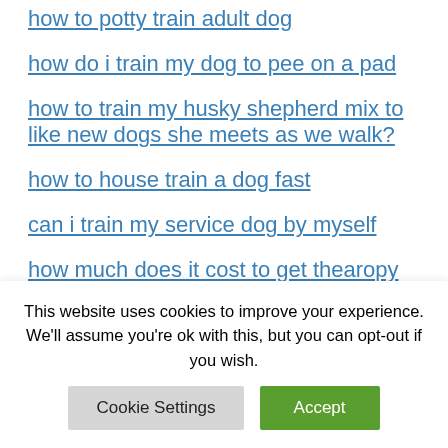how to potty train adult dog
how do i train my dog to pee on a pad
how to train my husky shepherd mix to like new dogs she meets as we walk?
how to house train a dog fast
can i train my service dog by myself
how much does it cost to get thearopy training for a dog?
how old does a pup have to be to start...
This website uses cookies to improve your experience. We'll assume you're ok with this, but you can opt-out if you wish.